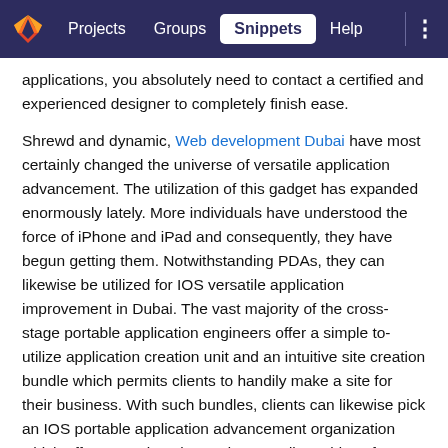Projects  Groups  Snippets  Help
applications, you absolutely need to contact a certified and experienced designer to completely finish ease.
Shrewd and dynamic, Web development Dubai have most certainly changed the universe of versatile application advancement. The utilization of this gadget has expanded enormously lately. More individuals have understood the force of iPhone and iPad and consequently, they have begun getting them. Notwithstanding PDAs, they can likewise be utilized for IOS versatile application improvement in Dubai. The vast majority of the cross-stage portable application engineers offer a simple to-utilize application creation unit and an intuitive site creation bundle which permits clients to handily make a site for their business. With such bundles, clients can likewise pick an IOS portable application advancement organization which offers stunning plan and extraordinary ideas for making an ideal web-based store.
IPhone App Development Dubai has been positioned as one of the main nations on the planet for IOS versatile applications and portable application advancement. This has been ascribed to the way that Dubai has incalculable organizations that need the